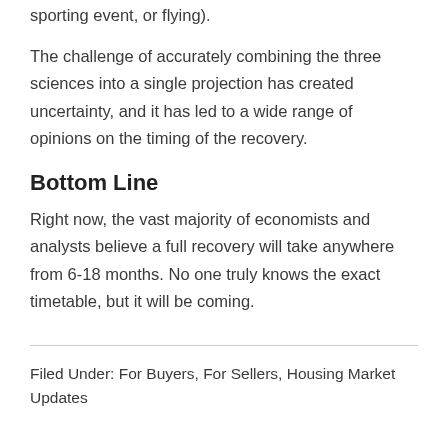sporting event, or flying).
The challenge of accurately combining the three sciences into a single projection has created uncertainty, and it has led to a wide range of opinions on the timing of the recovery.
Bottom Line
Right now, the vast majority of economists and analysts believe a full recovery will take anywhere from 6-18 months. No one truly knows the exact timetable, but it will be coming.
Filed Under: For Buyers, For Sellers, Housing Market Updates